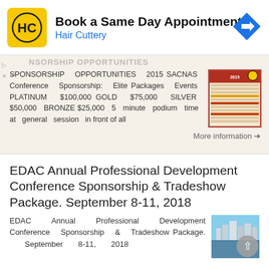[Figure (screenshot): Hair Cuttery advertisement banner: yellow logo with HC initials, text 'Book a Same Day Appointment' and 'Hair Cuttery', blue navigation arrow icon on right]
SPONSORSHIP OPPORTUNITIES 2015 SACNAS Conference Sponsorship: Elite Packages Events PLATINUM $100,000 GOLD $75,000 SILVER $50,000 BRONZE $25,000 5 minute podium time at general session in front of all
More information →
EDAC Annual Professional Development Conference Sponsorship & Tradeshow Package. September 8-11, 2018
EDAC Annual Professional Development Conference Sponsorship & Tradeshow Package. September 8-11, 2018